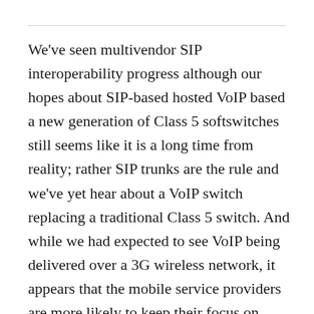We've seen multivendor SIP interoperability progress although our hopes about SIP-based hosted VoIP based a new generation of Class 5 softswitches still seems like it is a long time from reality; rather SIP trunks are the rule and we've yet hear about a VoIP switch replacing a traditional Class 5 switch. And while we had expected to see VoIP being delivered over a 3G wireless network, it appears that the mobile service providers are more likely to keep their focus on using 3G for mobile data, although we are pleased with progress made by mobile handset providers and enterprise infrastructure providers to integrate VoIP features for mobile delivery.When we predicted that